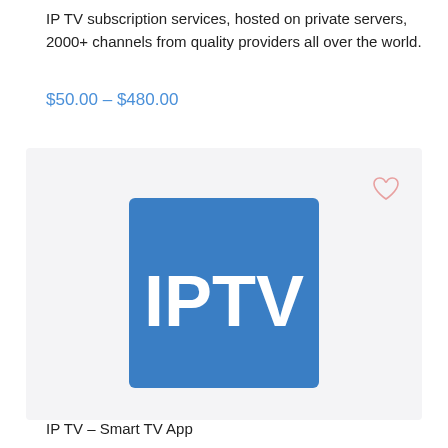IP TV subscription services, hosted on private servers, 2000+ channels from quality providers all over the world.
$50.00 – $480.00
[Figure (logo): Blue square logo with white bold text reading IPTV]
IP TV – Smart TV App